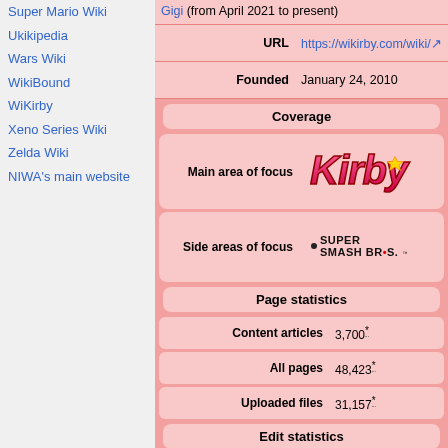Super Mario Wiki
Ukikipedia
Wars Wiki
WikiBound
WiKirby
Xeno Series Wiki
Zelda Wiki
NIWA's main website
Gigi (from April 2021 to present)
| Field | Value |
| --- | --- |
| URL | https://wikirby.com/wiki/ |
| Founded | January 24, 2010 |
| Coverage |  |
| Main area of focus | Kirby |
| Side areas of focus | Super Smash Bros. |
| Page statistics |  |
| Content articles | 3,700* |
| All pages | 48,423* |
| Uploaded files | 31,157* |
| Edit statistics |  |
| Page edits since set up | 336,222* |